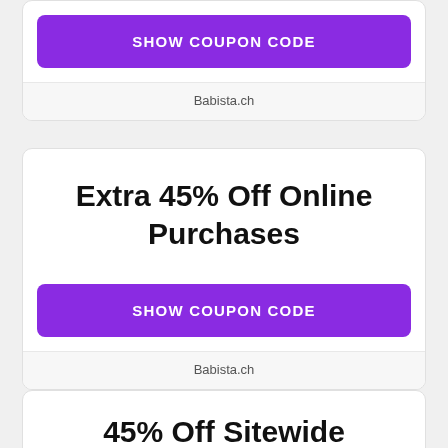[Figure (screenshot): Purple 'SHOW COUPON CODE' button inside a white card (top partial card)]
Babista.ch
Extra 45% Off Online Purchases
[Figure (screenshot): Purple 'SHOW COUPON CODE' button inside the second white card]
Babista.ch
45% Off Sitewide Coupon